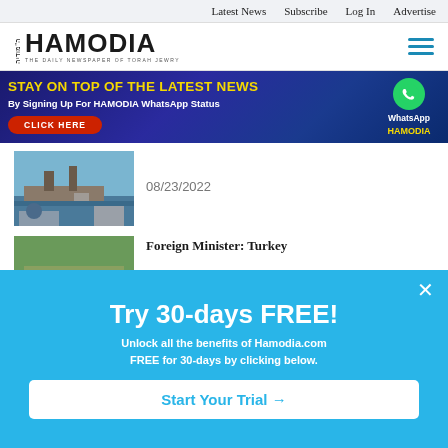Latest News   Subscribe   Log In   Advertise
[Figure (logo): Hamodia logo - THE DAILY NEWSPAPER OF TORAH JEWRY]
[Figure (infographic): Banner ad: STAY ON TOP OF THE LATEST NEWS By Signing Up For HAMODIA WhatsApp Status CLICK HERE - with WhatsApp icon and HAMODIA branding]
[Figure (photo): News thumbnail: ship/port scene]
08/23/2022
[Figure (photo): News thumbnail: large crowd scene]
Foreign Minister: Turkey
[Figure (infographic): Popup overlay: Try 30-days FREE! Unlock all the benefits of Hamodia.com FREE for 30-days by clicking below. Start Your Trial →]
[Figure (photo): News thumbnail: bottom partial image]